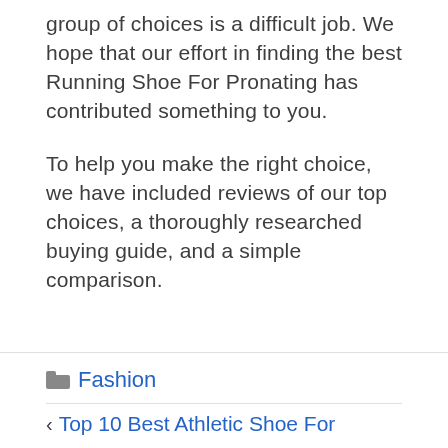group of choices is a difficult job. We hope that our effort in finding the best Running Shoe For Pronating has contributed something to you.
To help you make the right choice, we have included reviews of our top choices, a thoroughly researched buying guide, and a simple comparison.
Fashion | < Top 10 Best Athletic Shoe For